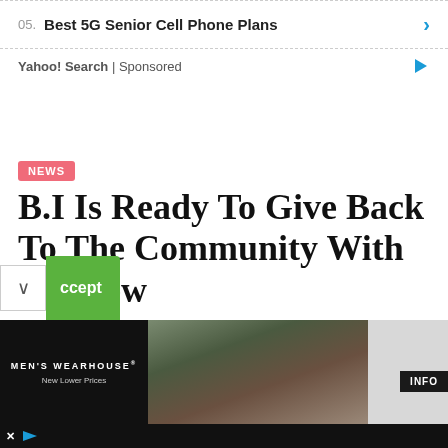05. Best 5G Senior Cell Phone Plans
Yahoo! Search | Sponsored
NEWS
B.I Is Ready To Give Back To The Community With His New
ccept
[Figure (photo): Men's Wearhouse advertisement banner showing a couple in formal wear and a man in a tuxedo with INFO button]